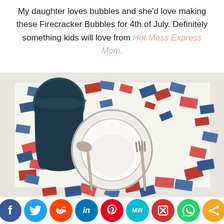My daughter loves bubbles and she'd love making these Firecracker Bubbles for 4th of July. Definitely something kids will love from Hot Mess Express Mom.
[Figure (photo): Overhead view of a table setting with a white bowl, spoon and fork on a red, white and blue confetti patterned placemat, with a dark blue cup in the upper left corner.]
Social sharing buttons: Facebook, Twitter, Reddit, LinkedIn, Pinterest, MeWe, Mix, WhatsApp, Share